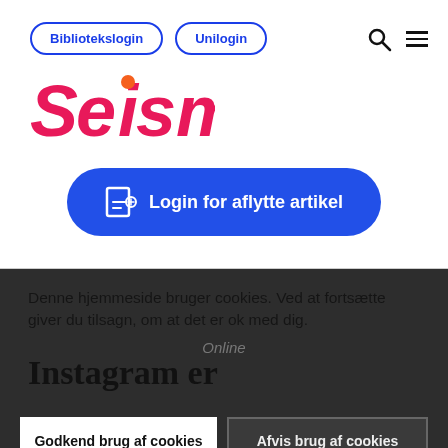[Figure (logo): Seismo logo — stylized red/pink text with orange dot on the 'i', in bold italic style]
Bibliotekslogin
Unilogin
Login for aflytte artikel
Denne hjemmeside bruger cookies. Ved at fortsætte giver du tilsagn, om at det er ok med dig.
Online
Instagram er
Godkend brug af cookies
Afvis brug af cookies
Indstillinger
selvværd – og